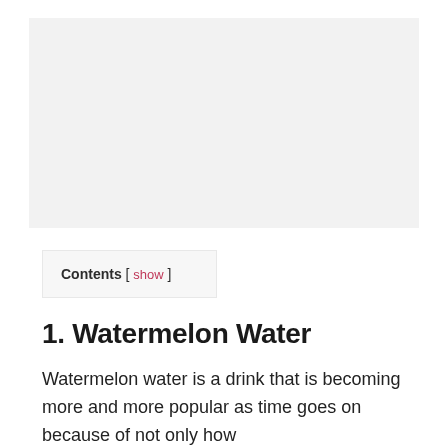[Figure (photo): Gray placeholder image area at the top of the page]
Contents [ show ]
1. Watermelon Water
Watermelon water is a drink that is becoming more and more popular as time goes on because of not only how